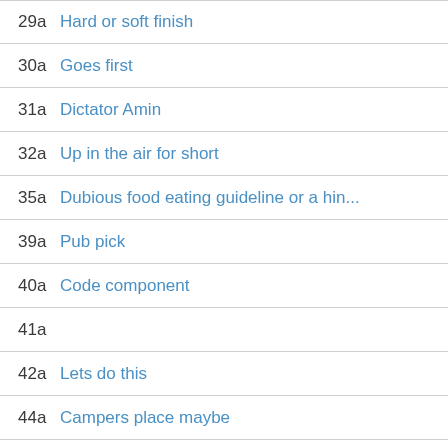29a Hard or soft finish
30a Goes first
31a Dictator Amin
32a Up in the air for short
35a Dubious food eating guideline or a hin...
39a Pub pick
40a Code component
41a
42a Lets do this
44a Campers place maybe